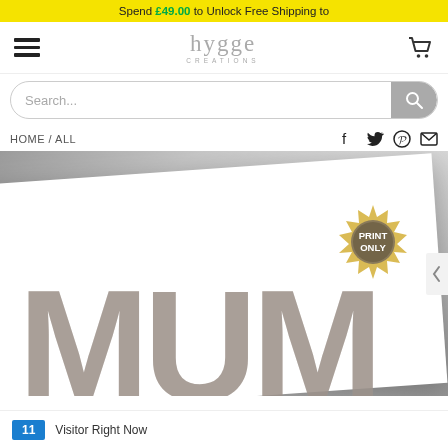Spend £49.00 to Unlock Free Shipping to
[Figure (screenshot): Hygge Creations website navigation bar with hamburger menu, logo, and cart icon]
Search...
HOME / ALL
[Figure (photo): Product photo showing a white art print with the word MUM in large block letters filled with a baby photo, on a grey textured background. A gold 'PRINT ONLY' badge is visible in the top right of the print.]
11 Visitor Right Now